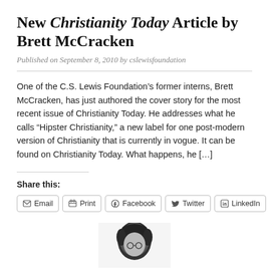New Christianity Today Article by Brett McCracken
Published on September 8, 2010 by cslewisfoundation
One of the C.S. Lewis Foundation’s former interns, Brett McCracken, has just authored the cover story for the most recent issue of Christianity Today. He addresses what he calls “Hipster Christianity,” a new label for one post-modern version of Christianity that is currently in vogue. It can be found on Christianity Today. What happens, he […]
Share this:
[Figure (photo): Partial black and white photo of a person's head, cropped at bottom of page]